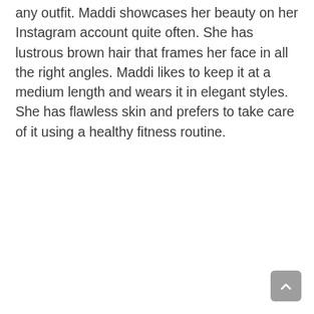any outfit. Maddi showcases her beauty on her Instagram account quite often. She has lustrous brown hair that frames her face in all the right angles. Maddi likes to keep it at a medium length and wears it in elegant styles. She has flawless skin and prefers to take care of it using a healthy fitness routine.